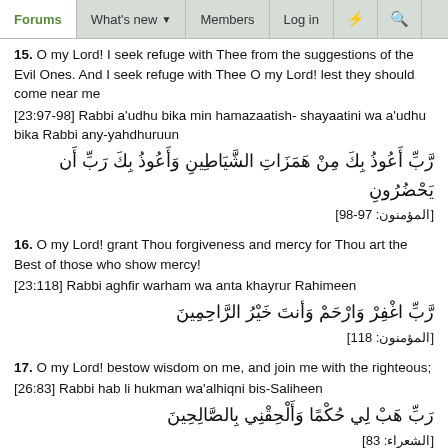Forums | What's new | Members | Log in
15. O my Lord! I seek refuge with Thee from the suggestions of the Evil Ones. And I seek refuge with Thee O my Lord! lest they should come near me
[23:97-98] Rabbi a'udhu bika min hamazaatish- shayaatini wa a'udhu bika Rabbi any-yahdhuruun
رَّبِّ أَعُوذُ بِكَ مِنْ هَمَزَاتِ الشَّيَاطِينِ وَأَعُوذُ بِكَ رَبِّ أَن يَحْضُرُونِ
[المؤمنون: 97-98]
16. O my Lord! grant Thou forgiveness and mercy for Thou art the Best of those who show mercy!
[23:118] Rabbi aghfir warham wa anta khayrur Rahimeen
رَّبِّ اغْفِرْ وَارْحَمْ وَأنتَ خَيْرُ الرَّاحِمِينَ
[المؤمنون: 118]
17. O my Lord! bestow wisdom on me, and join me with the righteous;
[26:83] Rabbi hab li hukman wa'alhiqni bis-Saliheen
رَبِّ هَبْ لِي حُكْمًا وَأَلْحِقْنِي بِالصَّالِحِينَ
[الشعراء: 83]